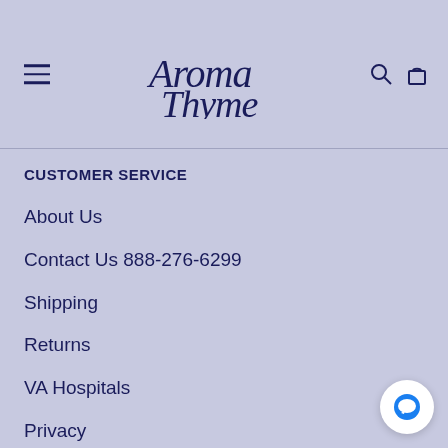Aroma Thyme
CUSTOMER SERVICE
About Us
Contact Us 888-276-6299
Shipping
Returns
VA Hospitals
Privacy
Terms Of Service
Medical Disclaimer
Accessibility
Copyright & Trademarks